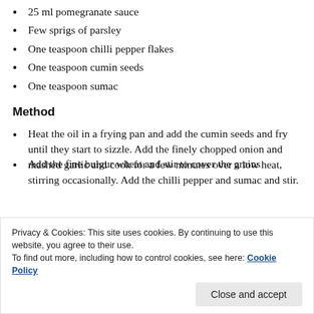25 ml pomegranate sauce
Few sprigs of parsley
One teaspoon chilli pepper flakes
One teaspoon cumin seeds
One teaspoon sumac
Method
Heat the oil in a frying pan and add the cumin seeds and fry until they start to sizzle. Add the finely chopped onion and mashed garlic and cook for a few minutes over a low heat, stirring occasionally. Add the chilli pepper and sumac and stir.
Add the fine bulgur wheat and stir to cover the grains
until most of the liquid is absorbed.
Privacy & Cookies: This site uses cookies. By continuing to use this website, you agree to their use.
To find out more, including how to control cookies, see here: Cookie Policy
Close and accept